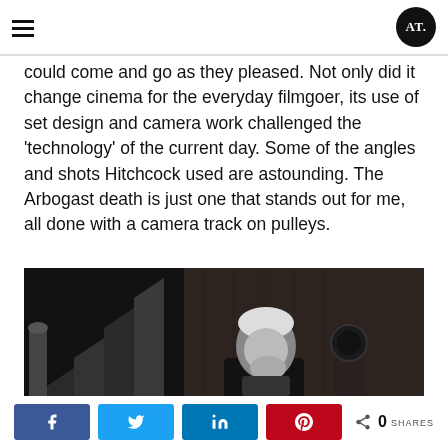AT (logo)
could come and go as they pleased. Not only did it change cinema for the everyday filmgoer, its use of set design and camera work challenged the 'technology' of the current day. Some of the angles and shots Hitchcock used are astounding. The Arbogast death is just one that stands out for me, all done with a camera track on pulleys.
[Figure (photo): Black and white photograph of Alfred Hitchcock on set, standing near a staircase, looking downward.]
0 SHARES